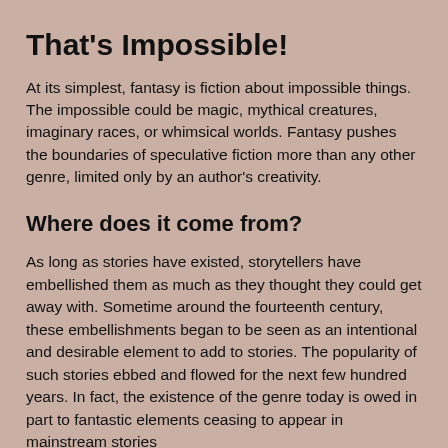That's Impossible!
At its simplest, fantasy is fiction about impossible things. The impossible could be magic, mythical creatures, imaginary races, or whimsical worlds. Fantasy pushes the boundaries of speculative fiction more than any other genre, limited only by an author's creativity.
Where does it come from?
As long as stories have existed, storytellers have embellished them as much as they thought they could get away with. Sometime around the fourteenth century, these embellishments began to be seen as an intentional and desirable element to add to stories. The popularity of such stories ebbed and flowed for the next few hundred years. In fact, the existence of the genre today is owed in part to fantastic elements ceasing to appear in mainstream stories